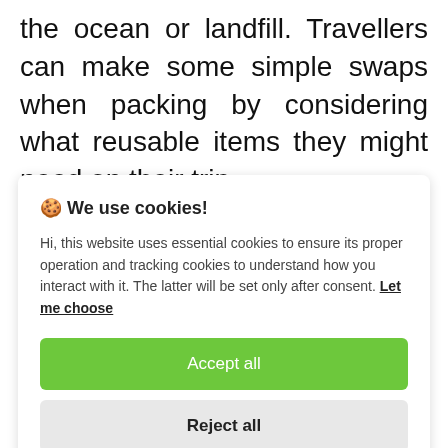the ocean or landfill. Travellers can make some simple swaps when packing by considering what reusable items they might need on their trip.
[Figure (screenshot): Cookie consent popup overlay with title 'We use cookies!', body text about essential and tracking cookies, a 'Let me choose' link, an 'Accept all' green button, and a 'Reject all' grey button.]
you're eating at a food market or eating